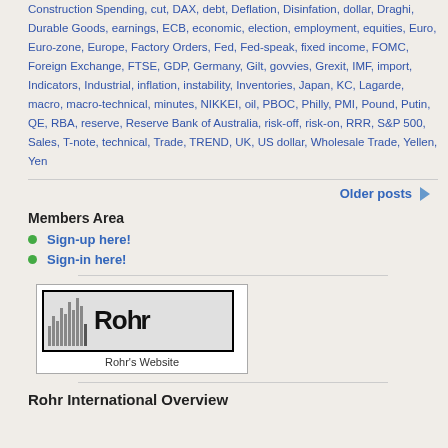Construction Spending, cut, DAX, debt, Deflation, Disinfation, dollar, Draghi, Durable Goods, earnings, ECB, economic, election, employment, equities, Euro, Euro-zone, Europe, Factory Orders, Fed, Fed-speak, fixed income, FOMC, Foreign Exchange, FTSE, GDP, Germany, Gilt, govvies, Grexit, IMF, import, Indicators, Industrial, inflation, instability, Inventories, Japan, KC, Lagarde, macro, macro-technical, minutes, NIKKEI, oil, PBOC, Philly, PMI, Pound, Putin, QE, RBA, reserve, Reserve Bank of Australia, risk-off, risk-on, RRR, S&P 500, Sales, T-note, technical, Trade, TREND, UK, US dollar, Wholesale Trade, Yellen, Yen
Older posts
Members Area
Sign-up here!
Sign-in here!
[Figure (logo): Rohr International logo with bar chart graphic and bold ROHR text]
Rohr's Website
Rohr International Overview